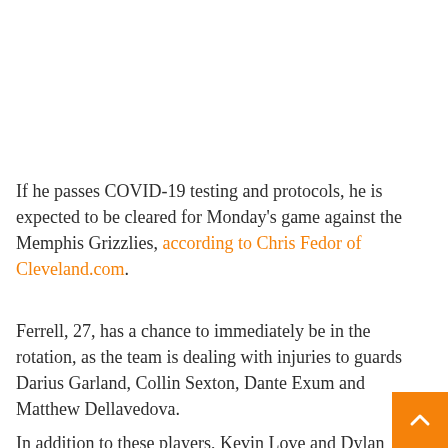If he passes COVID-19 testing and protocols, he is expected to be cleared for Monday's game against the Memphis Grizzlies, according to Chris Fedor of Cleveland.com.
Ferrell, 27, has a chance to immediately be in the rotation, as the team is dealing with injuries to guards Darius Garland, Collin Sexton, Dante Exum and Matthew Dellavedova.
In addition to these players, Kevin Love and Dylan